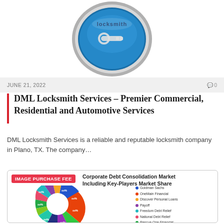[Figure (logo): DML Locksmith logo — circular badge with blue background, key icon, chrome border, partial view cropped at top]
JUNE 21, 2022  0
DML Locksmith Services – Premier Commercial, Residential and Automotive Services
DML Locksmith Services is a reliable and reputable locksmith company in Plano, TX. The company…
[Figure (donut-chart): Donut chart with IMAGE PURCHASE FEE watermark. Slices labeled xx%. Legend lists: Goldman Sachs, OneMain Financial, Discover Personal Loans, Payoff, Freedom Debt Relief, National Debt Relief, Rescue One Financial, ClearOne Advantage, New Era Debt Solutions, Pacific Debt, Accredited Debt Relief]